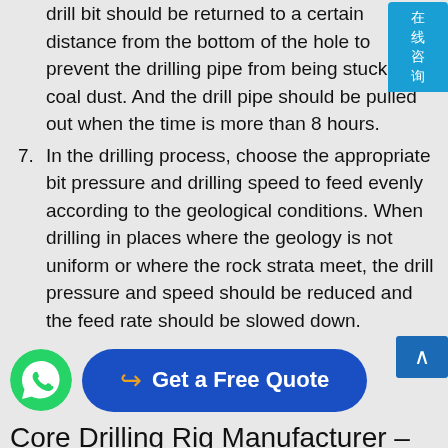drill bit should be returned to a certain distance from the bottom of the hole to prevent the drilling pipe from being stuck by coal dust. And the drill pipe should be pulled out when the time is more than 8 hours.
7. In the drilling process, choose the appropriate bit pressure and drilling speed to feed evenly according to the geological conditions. When drilling in places where the geology is not uniform or where the rock strata meet, the drill pressure and speed should be reduced and the feed rate should be slowed down.
[Figure (other): Blue rounded-rectangle CTA button labeled 'Get a Free Quote' with orange arrow icon, and WhatsApp green circle icon to the left]
Core Drilling Rig Manufacturer – YG Machinery